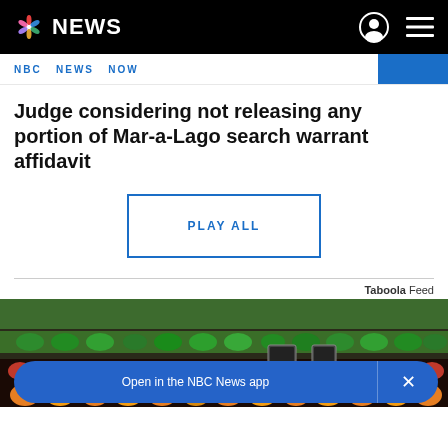NBC NEWS
NBC NEWS NOW
Judge considering not releasing any portion of Mar-a-Lago search warrant affidavit
PLAY ALL
Taboola Feed
[Figure (photo): Grocery store produce section with fresh vegetables and fruits]
Open in the NBC News app